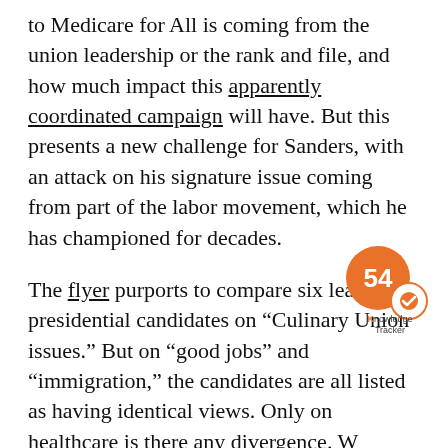to Medicare for All is coming from the union leadership or the rank and file, and how much impact this apparently coordinated campaign will have. But this presents a new challenge for Sanders, with an attack on his signature issue coming from part of the labor movement, which he has championed for decades.
The flyer purports to compare six leading presidential candidates on “Culinary Union issues.” But on “good jobs” and “immigration,” the candidates are all listed as having identical views. Only on healthcare is there any divergence. While Joe Biden, Pete Buttigieg, Amy Klobuchar, and Tom Steyer will “Protect Culinary Healthcare” according to the flyer, Sanders will end it. For Elizabeth Warren, whose struggles over defining her position on healthcare are well-documented,
[Figure (other): A circular orange badge showing the number 54, with a white checkmark badge overlapping at bottom-right, and a 'Knowledge Tracker' label below]